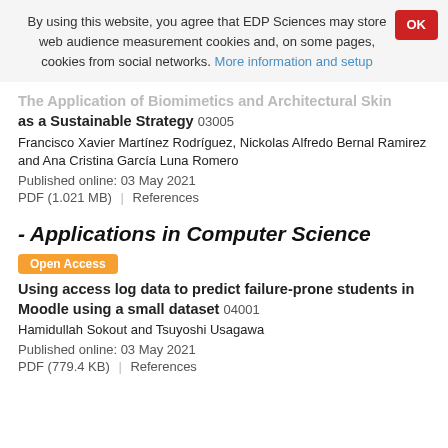By using this website, you agree that EDP Sciences may store web audience measurement cookies and, on some pages, cookies from social networks. More information and setup
The Application of Biomimetics and Architectural Skin as a Sustainable Strategy  03005
Francisco Xavier Martínez Rodríguez, Nickolas Alfredo Bernal Ramirez and Ana Cristina García Luna Romero
Published online: 03 May 2021
PDF (1.021 MB)  |  References
- Applications in Computer Science
Open Access
Using access log data to predict failure-prone students in Moodle using a small dataset  04001
Hamidullah Sokout and Tsuyoshi Usagawa
Published online: 03 May 2021
PDF (779.4 KB)  |  References